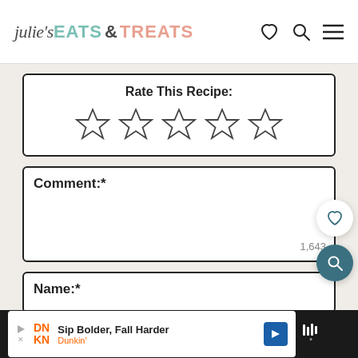julie's EATS & TREATS
Rate This Recipe:
[Figure (other): Five empty star rating icons for recipe rating]
Comment:*
1,643
Name:*
Sip Bolder, Fall Harder Dunkin'